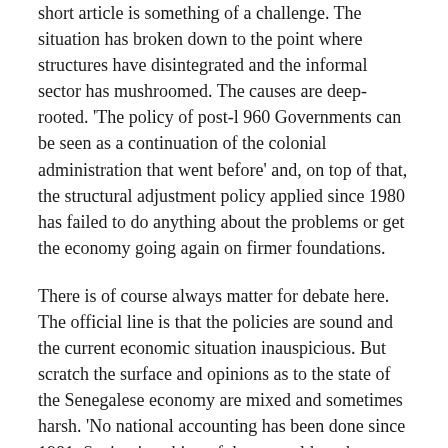short article is something of a challenge. The situation has broken down to the point where structures have disintegrated and the informal sector has mushroomed. The causes are deep-rooted. 'The policy of post-l 960 Governments can be seen as a continuation of the colonial administration that went before' and, on top of that, the structural adjustment policy applied since 1980 has failed to do anything about the problems or get the economy going again on firmer foundations.
There is of course always matter for debate here. The official line is that the policies are sound and the current economic situation inauspicious. But scratch the surface and opinions as to the state of the Senegalese economy are mixed and sometimes harsh. 'No national accounting has been done since 1981. Saving is a thing of the past, although medium- and long-term bank deposits seem to be increasing at the same time,' Frans Boye, Head of the Economics Teaching and Research Unit at Senegal's Saint-Louis University, told me. Could these banking assets be a way of financing the economy?